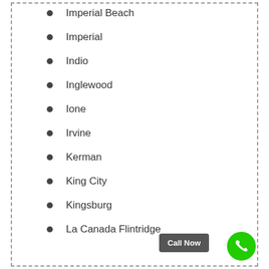Imperial Beach
Imperial
Indio
Inglewood
Ione
Irvine
Kerman
King City
Kingsburg
La Canada Flintridge